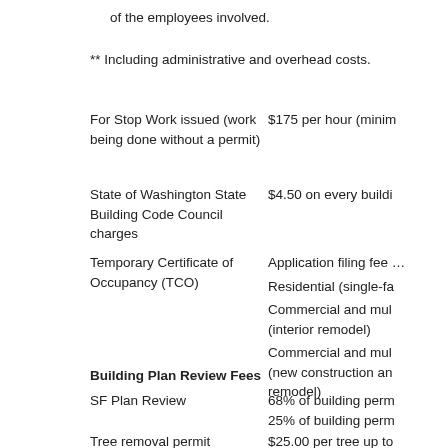of the employees involved.
** Including administrative and overhead costs.
For Stop Work issued (work being done without a permit)	$175 per hour (minim…
State of Washington State Building Code Council charges	$4.50 on every buildi…
Temporary Certificate of Occupancy (TCO)	Application filing fee …
Residential (single-fa…
Commercial and mul… (interior remodel)
Commercial and mul… (new construction an… remodel)
Building Plan Review Fees
SF Plan Review	68% of building perm…
25% of building perm…
Tree removal permit	$25.00 per tree up to…